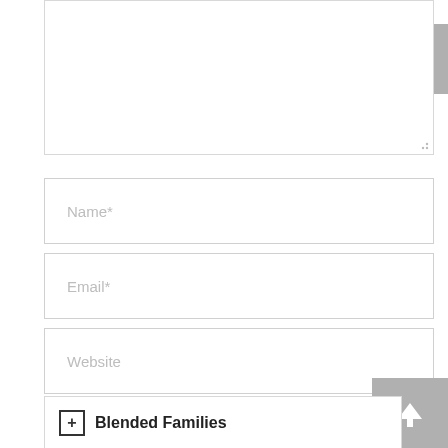[Figure (screenshot): Textarea input box for comment text, partially visible at top of page]
Name*
Email*
Website
Save my name, email, and website in this browser for the next time I comment.
Post comment
Blended Families